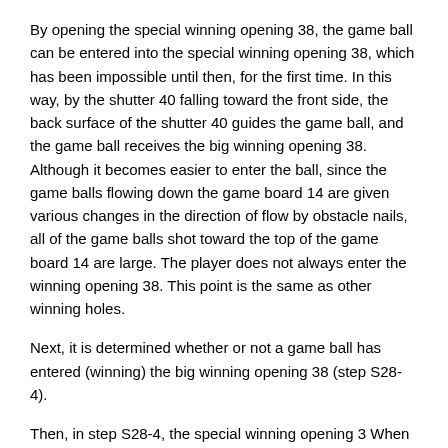By opening the special winning opening 38, the game ball can be entered into the special winning opening 38, which has been impossible until then, for the first time. In this way, by the shutter 40 falling toward the front side, the back surface of the shutter 40 guides the game ball, and the game ball receives the big winning opening 38. Although it becomes easier to enter the ball, since the game balls flowing down the game board 14 are given various changes in the direction of flow by obstacle nails, all of the game balls shot toward the top of the game board 14 are large. The player does not always enter the winning opening 38. This point is the same as other winning holes.
Next, it is determined whether or not a game ball has entered (winning) the big winning opening 38 (step S28-4).
Then, in step S28-4, the special winning opening 3 When it is determined that the game balls have entered the 8, the winning number (m') indicating the total number of the game balls that have entered the special winning opening 38 when the shutter 40 is opened once is "1". Addition is performed (step S28-5), and then an image corresponding to the winning number (m') is displayed on